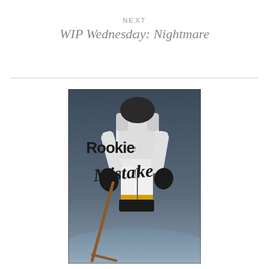NEXT
WIP Wednesday: Nightmare
[Figure (illustration): Book cover for 'Rookie Mistake' showing a hockey player in white and black uniform holding a stick on ice, with the title text in stylized font]